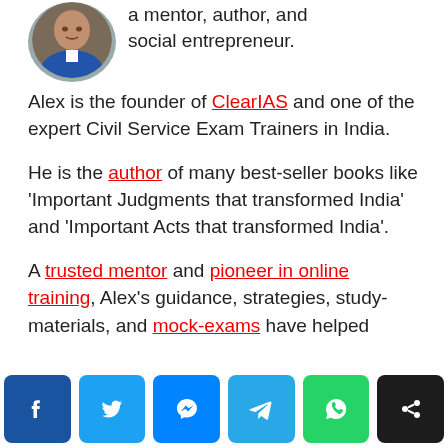[Figure (photo): Portrait photo of a man in a blue blazer, circular crop]
a mentor, author, and social entrepreneur.
Alex is the founder of ClearIAS and one of the expert Civil Service Exam Trainers in India.
He is the author of many best-seller books like 'Important Judgments that transformed India' and 'Important Acts that transformed India'.
A trusted mentor and pioneer in online training, Alex's guidance, strategies, study-materials, and mock-exams have helped
[Figure (infographic): Social sharing bar with Facebook, Twitter, Messenger, Telegram, WhatsApp, and Share buttons]